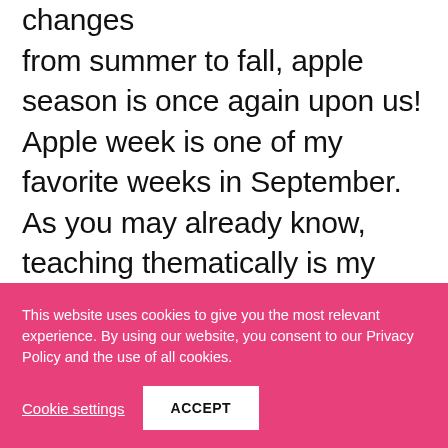changes from summer to fall, apple season is once again upon us! Apple week is one of my favorite weeks in September. As you may already know, teaching thematically is my passion. Integrating science, math, literacy … [Read more...]
This website uses cookies to give you the most relevant experience. By using our website, you consent to our Privacy Policy and the use of all cookies.
Cookie settings
ACCEPT